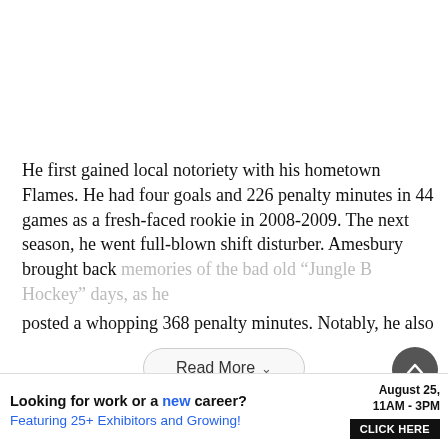He first gained local notoriety with his hometown Flames. He had four goals and 226 penalty minutes in 44 games as a fresh-faced rookie in 2008-2009. The next season, he went full-blown shift disturber. Amesbury brought back memories of the bad old “Jungle B Hockey” days, as he posted a whopping 368 penalty minutes. Notably, he also
Read More
[Figure (other): Advertisement banner: 'Looking for work or a new career? August 25, 11AM-3PM. Featuring 25+ Exhibitors and Growing! CLICK HERE']